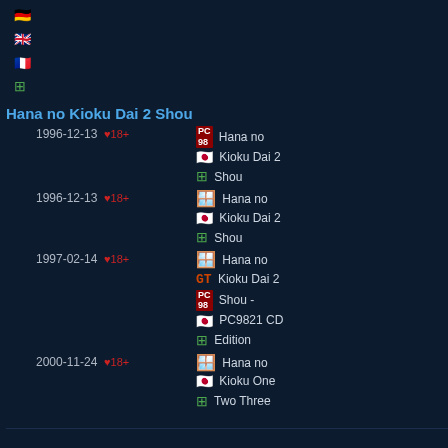flags: DE, UK, FR, grid icon (top entries)
Hana no Kioku Dai 2 Shou
1996-12-13 ♥18+ PC98 Hana no Kioku Dai 2 Shou [JP] [grid]
1996-12-13 ♥18+ Windows Hana no Kioku Dai 2 Shou [JP] [grid]
1997-02-14 ♥18+ Windows [GT] PC98 Hana no Kioku Dai 2 Shou - PC9821 CD Edition [JP] [grid]
2000-11-24 ♥18+ Windows Hana no Kioku One Two Three [JP] [grid]
Sayonara no Mukougawa
1997-04-04 ♥18+ PC98 Sayonara no Mukougawa [JP] [grid]
1997-08-08 ♥18+ Windows Sayonara...